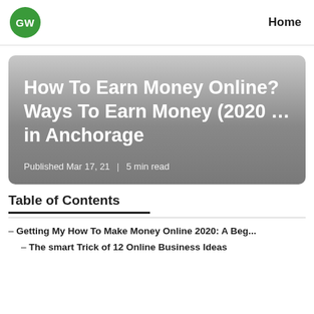GW | Home
[Figure (other): Hero card with gradient background showing article title and metadata]
How To Earn Money Online? Ways To Earn Money (2020 … in Anchorage
Published Mar 17, 21 | 5 min read
Table of Contents
– Getting My How To Make Money Online 2020: A Beg...
– The smart Trick of 12 Online Business Ideas